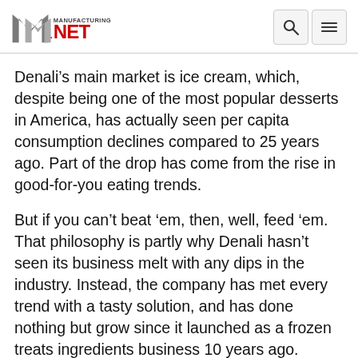Manufacturing.net
Denali’s main market is ice cream, which, despite being one of the most popular desserts in America, has actually seen per capita consumption declines compared to 25 years ago. Part of the drop has come from the rise in good-for-you eating trends.
But if you can’t beat ‘em, then, well, feed ‘em.  That philosophy is partly why Denali hasn’t seen its business melt with any dips in the industry. Instead, the company has met every trend with a tasty solution, and has done nothing but grow since it launched as a frozen treats ingredients business 10 years ago.
Behind that success is the constant push to